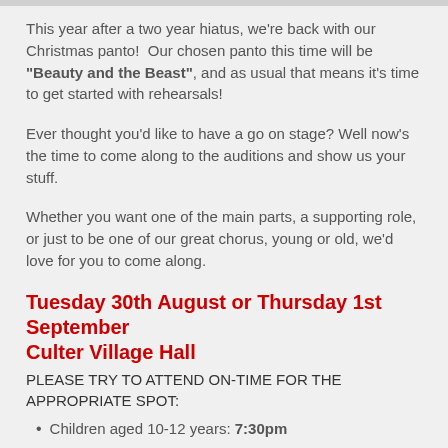This year after a two year hiatus, we're back with our Christmas panto!  Our chosen panto this time will be "Beauty and the Beast", and as usual that means it's time to get started with rehearsals!
Ever thought you'd like to have a go on stage? Well now's the time to come along to the auditions and show us your stuff.
Whether you want one of the main parts, a supporting role, or just to be one of our great chorus, young or old, we'd love for you to come along.
Tuesday 30th August or Thursday 1st September Culter Village Hall
PLEASE TRY TO ATTEND ON-TIME FOR THE APPROPRIATE SPOT:
Children aged 10-12 years: 7:30pm